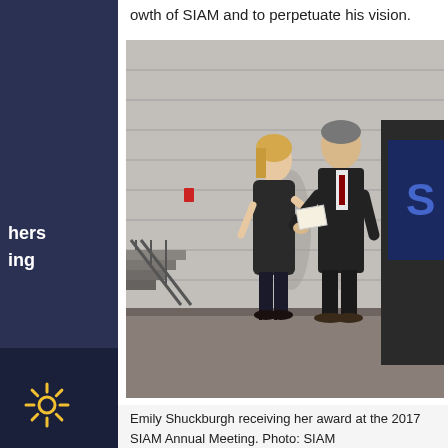owth of SIAM and to perpetuate his vision.
hers
ing
[Figure (photo): Two people on a stage shaking hands and exchanging papers/award. A woman in a black dress and a man in a dark suit are standing on a raised platform. Stairs visible on the left, a SIAM-branded podium/screen partially visible on the right. Shadows of the two people visible on the wall behind them.]
Emily Shuckburgh receiving her award at the 2017 SIAM Annual Meeting. Photo: SIAM